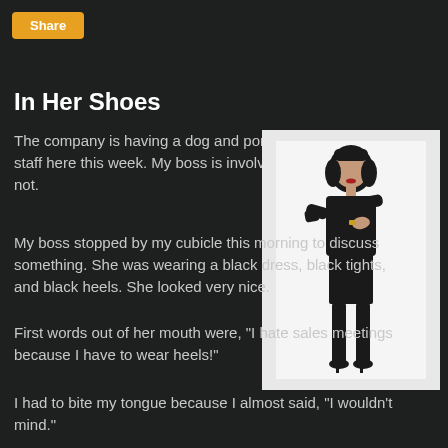Share
In Her Shoes
The company is having a dog and pony show for the sales staff here this week. My boss is involved; thankfully, I am not.
[Figure (photo): A woman in a black dress, black tights, and black heels standing with arms crossed]
My boss stopped by my cubicle this morning to discuss something. She was wearing a black dress, black tights, and black heels. She looked very nice.
First words out of her mouth were, "I hate sales meetings because I have to wear heels!"
I had to bite my tongue because I almost said, "I wouldn't mind."